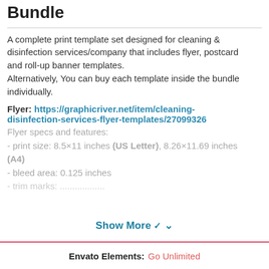Bundle
A complete print template set designed for cleaning & disinfection services/company that includes flyer, postcard and roll-up banner templates.
Alternatively, You can buy each template inside the bundle individually.
Flyer: https://graphicriver.net/item/cleaning-disinfection-services-flyer-templates/27099326
Flyer specs and features:
- print size: 8.5×11 inches (US Letter), 8.26×11.69 inches (A4)
- bleed area: 0.125 inches
Show More ▾
Envato Elements:  Go Unlimited